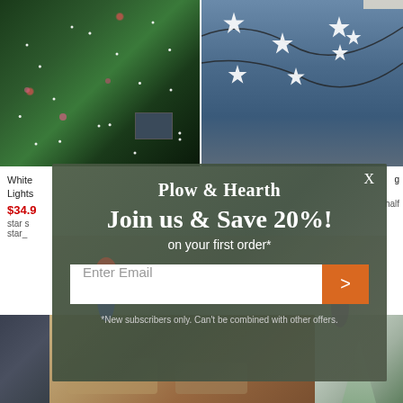[Figure (photo): Two product photos: left shows solar string lights in garden with solar panel visible; right shows star-shaped string lights hanging from house eave against blue sky]
White... Lights... $34.9... star s... half star_...
[Figure (infographic): Plow & Hearth email signup modal overlay. Brand logo 'Plow & Hearth', headline 'Join us & Save 20%!', subheadline 'on your first order*', email input field with orange submit button showing '>', disclaimer '*New subscribers only. Can't be combined with other offers.']
[Figure (photo): Bottom strip showing three partial product images: outdoor furniture/patio scene on left and center, snowy/winter tree on right]